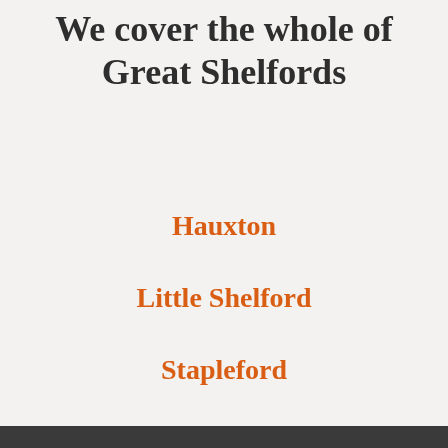We cover the whole of Great Shelfords
Hauxton
Little Shelford
Stapleford